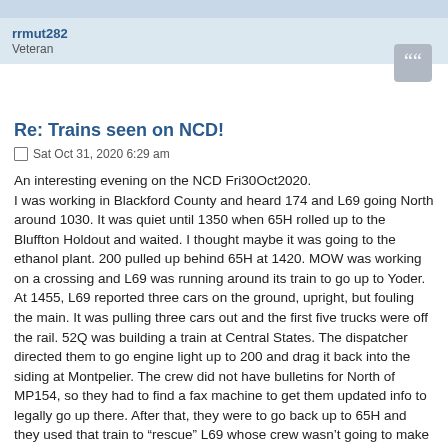rrmut282 | Veteran
Re: Trains seen on NCD!
Sat Oct 31, 2020 6:29 am
An interesting evening on the NCD Fri30Oct2020.
I was working in Blackford County and heard 174 and L69 going North around 1030. It was quiet until 1350 when 65H rolled up to the Bluffton Holdout and waited. I thought maybe it was going to the ethanol plant. 200 pulled up behind 65H at 1420. MOW was working on a crossing and L69 was running around its train to go up to Yoder.
At 1455, L69 reported three cars on the ground, upright, but fouling the main. It was pulling three cars out and the first five trucks were off the rail. 52Q was building a train at Central States. The dispatcher directed them to go engine light up to 200 and drag it back into the siding at Montpelier. The crew did not have bulletins for North of MP154, so they had to find a fax machine to get them updated info to legally go up there. After that, they were to go back up to 65H and they used that train to "rescue" L69 whose crew wasn't going to make it. They drug the engine and what cars were rolling and drag L69 back to Muncie. I heard L69 roll South at 1945. They must have cleared the main at least, as 282 rolled North around 2130.